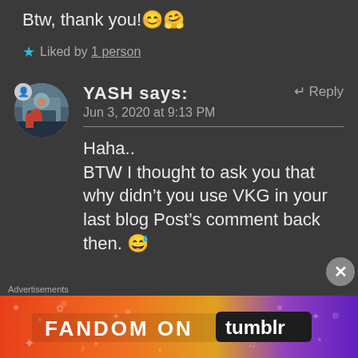Btw, thank you! 😊🤗
★ Liked by 1 person
YASH says:  ↵ Reply
Jun 3, 2020 at 9:13 PM
Haha..
BTW I thought to ask you that why didn't you use VKG in your last blog Post's comment back then. 😅
[Figure (other): Fandom on Tumblr advertisement banner with colorful gradient background]
Advertisements